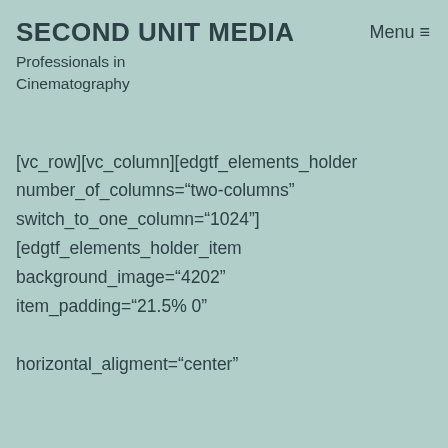SECOND UNIT MEDIA
Professionals in Cinematography
Menu ≡
[vc_row][vc_column][edgtf_elements_holder number_of_columns="two-columns" switch_to_one_column="1024"] [edgtf_elements_holder_item background_image="4202" item_padding="21.5% 0" horizontal_aligment="center"